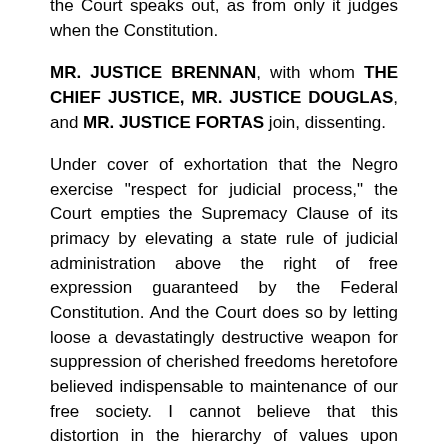the Court speaks out, as from only it judges when the Constitution.
MR. JUSTICE BRENNAN, with whom THE CHIEF JUSTICE, MR. JUSTICE DOUGLAS, and MR. JUSTICE FORTAS join, dissenting.
Under cover of exhortation that the Negro exercise "respect for judicial process," the Court empties the Supremacy Clause of its primacy by elevating a state rule of judicial administration above the right of free expression guaranteed by the Federal Constitution. And the Court does so by letting loose a devastatingly destructive weapon for suppression of cherished freedoms heretofore believed indispensable to maintenance of our free society. I cannot believe that this distortion in the hierarchy of values upon which our society has been and must be ordered can have any significance beyond its function as a vehicle to affirm these contempt convictions.